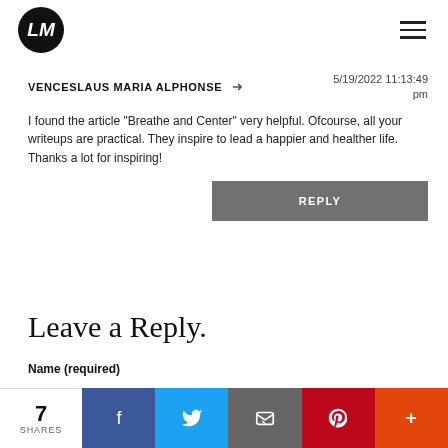LM logo and hamburger menu
VENCESLAUS MARIA ALPHONSE → 5/19/2022 11:13:49 pm
I found the article "Breathe and Center" very helpful. Ofcourse, all your writeups are practical. They inspire to lead a happier and healther life. Thanks a lot for inspiring!
REPLY
Leave a Reply.
Name (required)
7 SHARES  Facebook  Twitter  Email  Pinterest  More